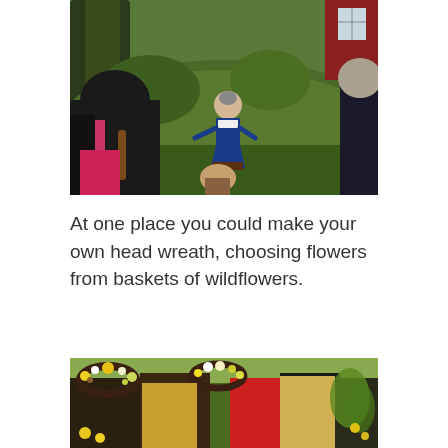[Figure (photo): A woman in traditional blue Swedish folk costume standing on a grassy hillside, speaking to a group of visitors including children, in front of a moss-covered mound and a red building with a white window.]
At one place you could make your own head wreath, choosing flowers from baskets of wildflowers.
[Figure (photo): Close-up of people, including children, wearing flower wreaths made of wildflowers on their heads, outdoors in a garden setting.]